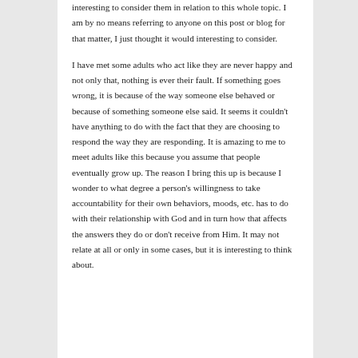interesting to consider them in relation to this whole topic. I am by no means referring to anyone on this post or blog for that matter, I just thought it would interesting to consider.
I have met some adults who act like they are never happy and not only that, nothing is ever their fault. If something goes wrong, it is because of the way someone else behaved or because of something someone else said. It seems it couldn't have anything to do with the fact that they are choosing to respond the way they are responding. It is amazing to me to meet adults like this because you assume that people eventually grow up. The reason I bring this up is because I wonder to what degree a person's willingness to take accountability for their own behaviors, moods, etc. has to do with their relationship with God and in turn how that affects the answers they do or don't receive from Him. It may not relate at all or only in some cases, but it is interesting to think about.